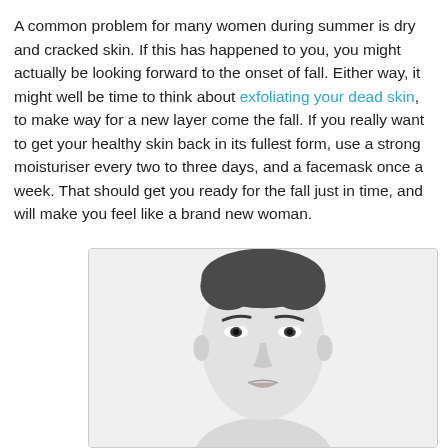A common problem for many women during summer is dry and cracked skin. If this has happened to you, you might actually be looking forward to the onset of fall. Either way, it might well be time to think about exfoliating your dead skin, to make way for a new layer come the fall. If you really want to get your healthy skin back in its fullest form, use a strong moisturiser every two to three days, and a facemask once a week. That should get you ready for the fall just in time, and will make you feel like a brand new woman.
[Figure (photo): Black and white close-up portrait of a young woman with short dark hair, looking directly at the camera with a neutral expression, high-key lighting against a white background.]